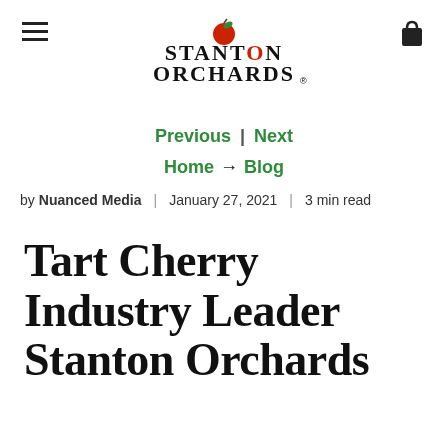Stanton Orchards logo with hamburger menu and cart icon
Previous | Next
Home → Blog
by Nuanced Media | January 27, 2021 | 3 min read
Tart Cherry Industry Leader Stanton Orchards